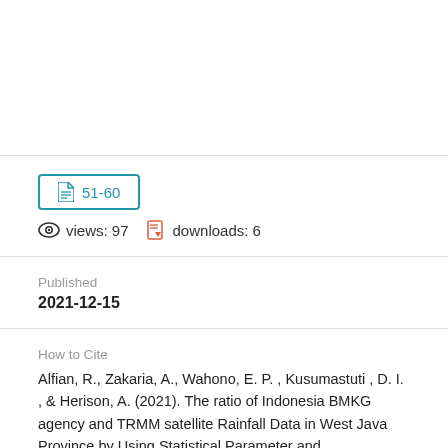51-60
views: 97   downloads: 6
Published
2021-12-15
How to Cite
Alfian, R., Zakaria, A., Wahono, E. P. , Kusumastuti , D. I. , & Herison, A. (2021). The ratio of Indonesia BMKG agency and TRMM satellite Rainfall Data in West Java Province by Using Statistical Parameter and